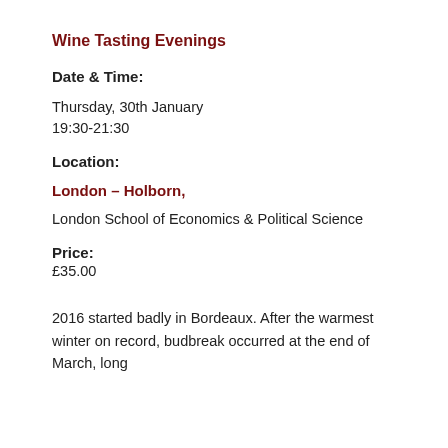Wine Tasting Evenings
Date & Time:
Thursday, 30th January
19:30-21:30
Location:
London – Holborn,
London School of Economics & Political Science
Price:
£35.00
2016 started badly in Bordeaux. After the warmest winter on record, budbreak occurred at the end of March, long